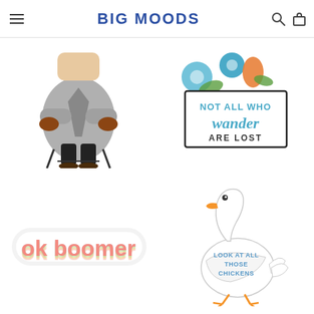BIG MOODS
[Figure (illustration): Bernie Sanders sitting in folding chair with mittens sticker]
[Figure (illustration): Sticker reading NOT ALL WHO wander ARE LOST with blue flowers]
[Figure (illustration): ok boomer retro rainbow text sticker]
[Figure (illustration): Goose sticker reading LOOK AT ALL THOSE CHICKENS]